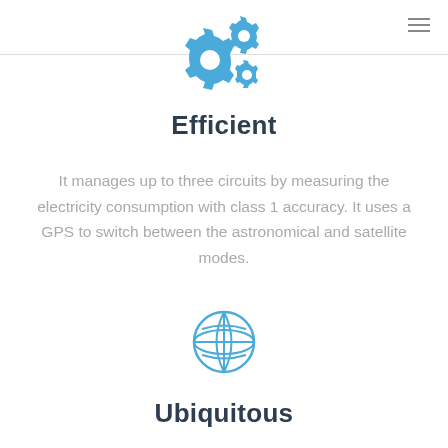[Figure (illustration): Blue gears/cog icon representing efficiency]
Efficient
It manages up to three circuits by measuring the electricity consumption with class 1 accuracy. It uses a GPS to switch between the astronomical and satellite modes.
[Figure (illustration): Blue globe/world icon representing ubiquitousness]
Ubiquitous